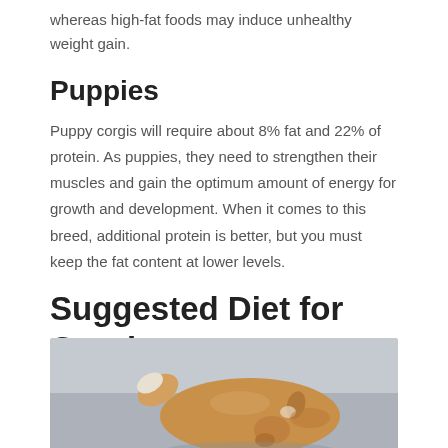whereas high-fat foods may induce unhealthy weight gain.
Puppies
Puppy corgis will require about 8% fat and 22% of protein. As puppies, they need to strengthen their muscles and gain the optimum amount of energy for growth and development. When it comes to this breed, additional protein is better, but you must keep the fat content at lower levels.
Suggested Diet for Corgis
[Figure (photo): A corgi puppy lying down with its head tucked, showing golden-brown fur, on a gray surface.]